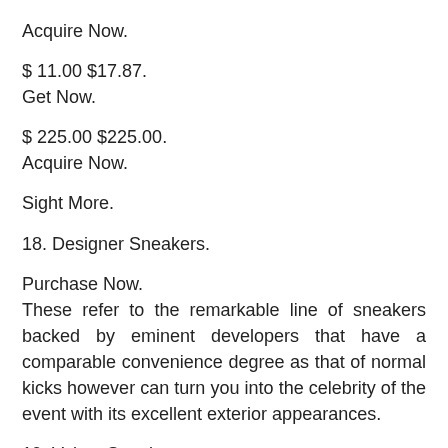Acquire Now.
$ 11.00 $17.87.
Get Now.
$ 225.00 $225.00.
Acquire Now.
Sight More.
18. Designer Sneakers.
Purchase Now.
These refer to the remarkable line of sneakers backed by eminent developers that have a comparable convenience degree as that of normal kicks however can turn you into the celebrity of the event with its excellent exterior appearances.
19. Velcro Sneakers.